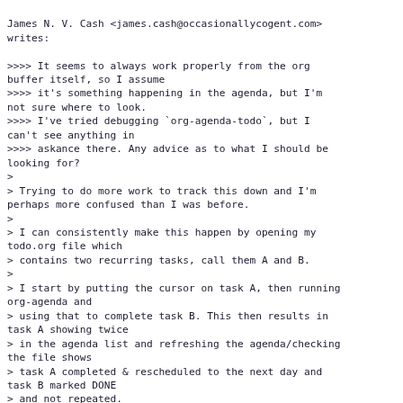James N. V. Cash <james.cash@occasionallycogent.com> writes:

>>>> It seems to always work properly from the org buffer itself, so I assume
>>>> it's something happening in the agenda, but I'm not sure where to look.
>>>> I've tried debugging `org-agenda-todo`, but I can't see anything in
>>>> askance there. Any advice as to what I should be looking for?
>
> Trying to do more work to track this down and I'm perhaps more confused than I was before.
>
> I can consistently make this happen by opening my todo.org file which
> contains two recurring tasks, call them A and B.
>
> I start by putting the cursor on task A, then running org-agenda and
> using that to complete task B. This then results in task A showing twice
> in the agenda list and refreshing the agenda/checking the file shows
> task A completed & rescheduled to the next day and task B marked DONE
> and not repeated.
>
> Trying to track this down, I see in `org-todo`, the